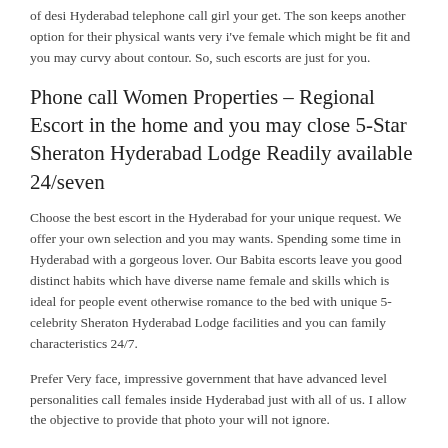of desi Hyderabad telephone call girl your get. The son keeps another option for their physical wants very i've female which might be fit and you may curvy about contour. So, such escorts are just for you.
Phone call Women Properties – Regional Escort in the home and you may close 5-Star Sheraton Hyderabad Lodge Readily available 24/seven
Choose the best escort in the Hyderabad for your unique request. We offer your own selection and you may wants. Spending some time in Hyderabad with a gorgeous lover. Our Babita escorts leave you good distinct habits which have diverse name female and skills which is ideal for people event otherwise romance to the bed with unique 5-celebrity Sheraton Hyderabad Lodge facilities and you can family characteristics 24/7.
Prefer Very face, impressive government that have advanced level personalities call females inside Hyderabad just with all of us. I allow the objective to provide that photo your will not ignore.
Hyderabad is the perfect place to look for an educated escorts and you will pubs, lounges, and you will good matchmaking tourist attractions. It is also where you can find some of the better accommodations inside the world, so